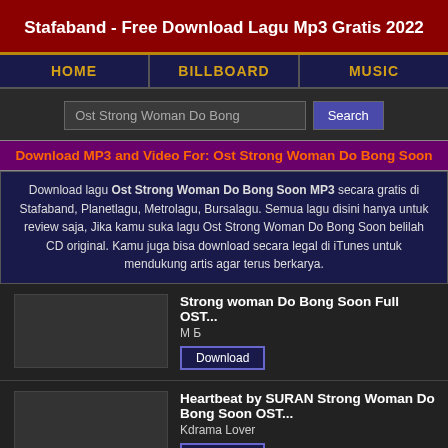Stafaband - Free Download Lagu Mp3 Gratis 2022
HOME | BILLBOARD | MUSIC
Ost Strong Woman Do Bong [Search]
Download MP3 and Video For: Ost Strong Woman Do Bong Soon
Download lagu Ost Strong Woman Do Bong Soon MP3 secara gratis di Stafaband, Planetlagu, Metrolagu, Bursalagu. Semua lagu disini hanya untuk review saja, Jika kamu suka lagu Ost Strong Woman Do Bong Soon belilah CD original. Kamu juga bisa download secara legal di iTunes untuk mendukung artis agar terus berkarya.
Strong woman Do Bong Soon Full OST...
М Б
[Download]
Heartbeat by SURAN Strong Woman Do Bong Soon OST...
Kdrama Lover
[Download]
더블트러블 Double Trouble Couple...
워너뮤직코리아 (Warner Music Korea)
[Download]
Playlist Strong Woman Do Bong Soon OST...